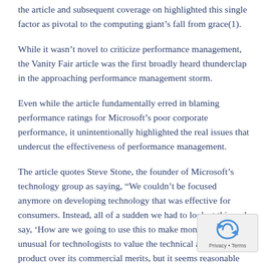the article and subsequent coverage on highlighted this single factor as pivotal to the computing giant's fall from grace(1).
While it wasn't novel to criticize performance management, the Vanity Fair article was the first broadly heard thunderclap in the approaching performance management storm.
Even while the article fundamentally erred in blaming performance ratings for Microsoft's poor corporate performance, it unintentionally highlighted the real issues that undercut the effectiveness of performance management.
The article quotes Steve Stone, the founder of Microsoft's technology group as saying, "We couldn't be focused anymore on developing technology that was effective for consumers. Instead, all of a sudden we had to look at this and say, 'How are we going to use this to make money?'" It's not unusual for technologists to value the technical attributes of a product over its commercial merits, but it seems reasonable that the leader of Microsoft's technology group should be accountable to produce a commercially viable product.
Another former Microsoft engineer quoted in the article said